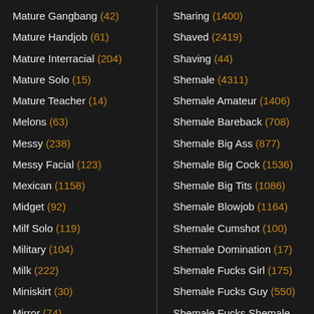Mature Gangbang (42)
Mature Handjob (61)
Mature Interracial (204)
Mature Solo (15)
Mature Teacher (14)
Melons (63)
Messy (238)
Messy Facial (123)
Mexican (1158)
Midget (92)
Milf Solo (119)
Military (104)
Milk (222)
Miniskirt (30)
Mirror (74)
Miss (213)
Sharing (1400)
Shaved (2419)
Shaving (44)
Shemale (4311)
Shemale Amateur (1406)
Shemale Bareback (708)
Shemale Big Ass (877)
Shemale Big Cock (1536)
Shemale Big Tits (1086)
Shemale Blowjob (1164)
Shemale Cumshot (100)
Shemale Domination (17)
Shemale Fucks Girl (175)
Shemale Fucks Guy (550)
Shemale Fucks Shemale (143)
Shemale Solo (747)